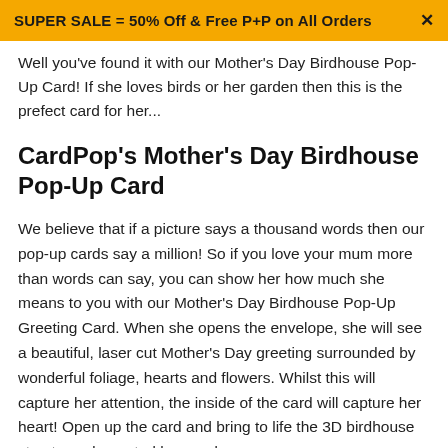SUPER SALE = 50% Off & Free P+P on All Orders ×
Well you've found it with our Mother's Day Birdhouse Pop-Up Card! If she loves birds or her garden then this is the prefect card for her...
CardPop's Mother's Day Birdhouse Pop-Up Card
We believe that if a picture says a thousand words then our pop-up cards say a million! So if you love your mum more than words can say, you can show her how much she means to you with our Mother's Day Birdhouse Pop-Up Greeting Card. When she opens the envelope, she will see a beautiful, laser cut Mother's Day greeting surrounded by wonderful foliage, hearts and flowers. Whilst this will capture her attention, the inside of the card will capture her heart! Open up the card and bring to life the 3D birdhouse structure, decorated by wood